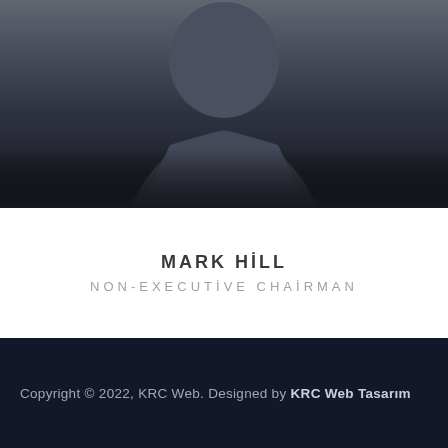[Figure (photo): Dark photograph of a person (Mark Hill) in formal/business attire, cropped to upper body, dark background]
MARK HILL
NON-EXECUTIVE CHAIRMAN
Copyright © 2022, KRC Web. Designed by KRC Web Tasarım